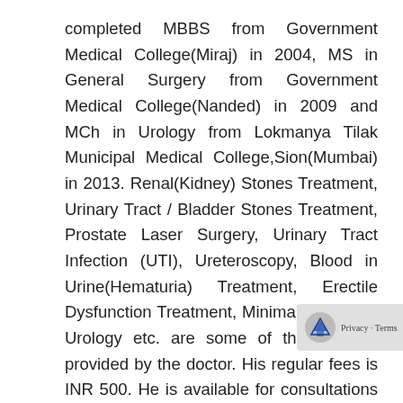completed MBBS from Government Medical College(Miraj) in 2004, MS in General Surgery from Government Medical College(Nanded) in 2009 and MCh in Urology from Lokmanya Tilak Municipal Medical College,Sion(Mumbai) in 2013. Renal(Kidney) Stones Treatment, Urinary Tract / Bladder Stones Treatment, Prostate Laser Surgery, Urinary Tract Infection (UTI), Ureteroscopy, Blood in Urine(Hematuria) Treatment, Erectile Dysfunction Treatment, Minimally Invasive Urology etc. are some of the services provided by the doctor. His regular fees is INR 500. He is available for consultations at Kidney Care Clinic on Mon-Fri from 6:00PM to 8:00PM.
Address : Kidney Care Clinic, G-11, Indradeep Complex (Ground Floor),